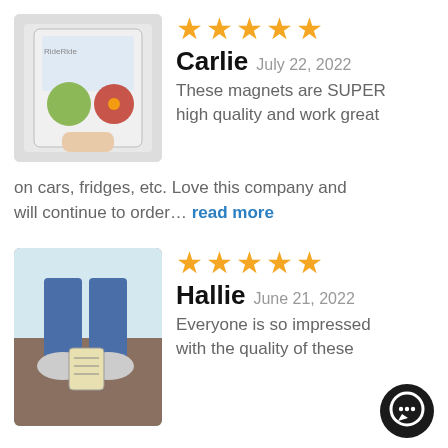[Figure (photo): Hand holding a product package with magnets (pizza and cactus designs)]
★★★★★ Carlie July 22, 2022 These magnets are SUPER high quality and work great on cars, fridges, etc. Love this company and will continue to order... read more
[Figure (photo): Person holding a shoe-shaped magnet near their sneakers outdoors]
★★★★★ Hallie June 21, 2022 Everyone is so impressed with the quality of these
[Figure (logo): Black circular chat/message icon in bottom right corner]